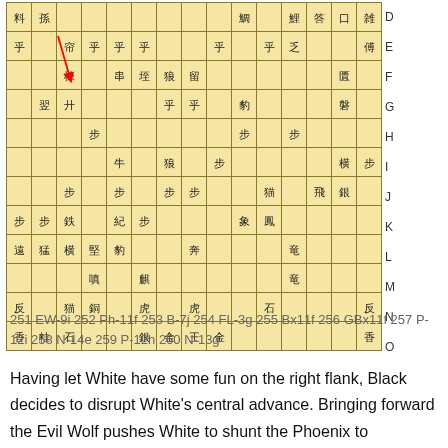[Figure (other): Shogi board diagram showing game position with Japanese chess pieces (kanji characters) on a grid labeled D through O on the right side. A red arrow indicates a move on the board.]
251 EW-9i 252 Ph-11f 253 B-7j 254 FL-3g 255 Bx11f 256 GBx11f 257 P-12i 258 N-14e 259 P-12h 260 N-13g
Having let White have some fun on the right flank, Black decides to disrupt White's central advance.  Bringing forward the Evil Wolf pushes White to shunt the Phoenix to